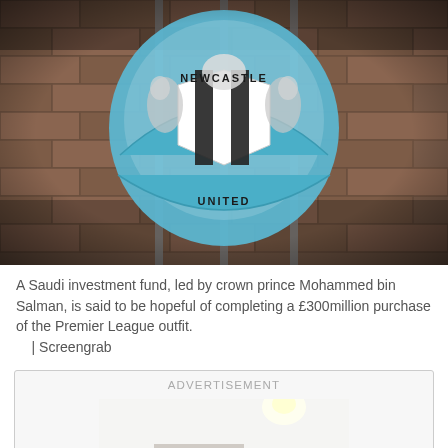[Figure (photo): Close-up photo of the Newcastle United football club crest/badge mounted on a brick wall with metal railings. The badge shows the club's name 'NEWCASTLE UNITED' in a light blue banner with a black and white striped shield and seahorse emblems.]
A Saudi investment fund, led by crown prince Mohammed bin Salman, is said to be hopeful of completing a £300million purchase of the Premier League outfit.
    | Screengrab
[Figure (photo): Advertisement image showing an interior room with white walls, a wall-mounted shelf, a TV or monitor, and children's toys including what appears to be a pink dollhouse and other colourful toys on the floor.]